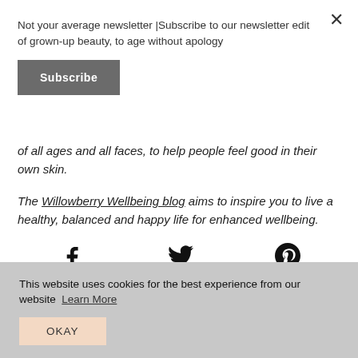Not your average newsletter |Subscribe to our newsletter edit of grown-up beauty, to age without apology
Subscribe
of all ages and all faces, to help people feel good in their own skin.
The Willowberry Wellbeing blog aims to inspire you to live a healthy, balanced and happy life for enhanced wellbeing.
[Figure (infographic): Social sharing icons row: Facebook Share, Twitter Tweet, Pinterest Pin It]
This website uses cookies for the best experience from our website  Learn More
OKAY
Willowberry Founder, Jenni